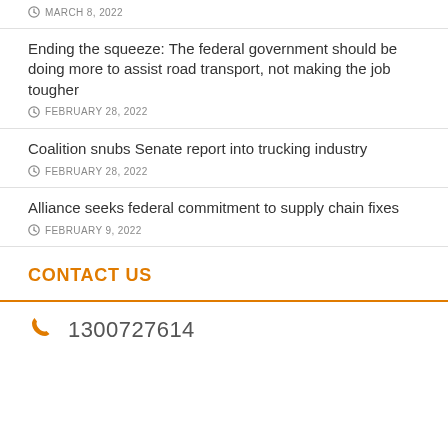MARCH 8, 2022
Ending the squeeze: The federal government should be doing more to assist road transport, not making the job tougher
FEBRUARY 28, 2022
Coalition snubs Senate report into trucking industry
FEBRUARY 28, 2022
Alliance seeks federal commitment to supply chain fixes
FEBRUARY 9, 2022
CONTACT US
1300727614